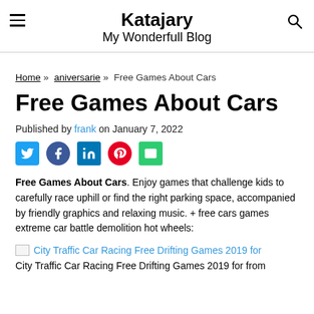Katajary
My Wonderfull Blog
Home » aniversarie » Free Games About Cars
Free Games About Cars
Published by frank on January 7, 2022
[Figure (infographic): Social share icons: Twitter, Facebook, LinkedIn, Pinterest, Email]
Free Games About Cars. Enjoy games that challenge kids to carefully race uphill or find the right parking space, accompanied by friendly graphics and relaxing music. + free cars games extreme car battle demolition hot wheels:
City Traffic Car Racing Free Drifting Games 2019 for
City Traffic Car Racing Free Drifting Games 2019 for from